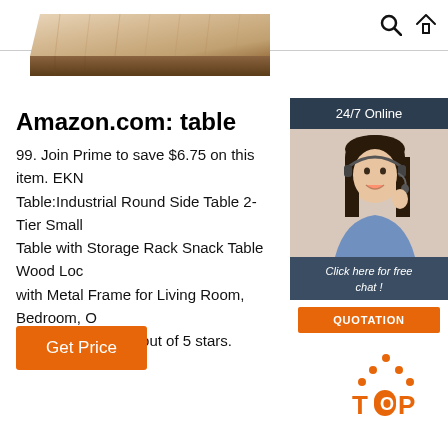Search and Home icons
[Figure (photo): Wooden table corner/edge product image cropped at top]
Amazon.com: table
99. Join Prime to save $6.75 on this item. EKNI Table:Industrial Round Side Table 2-Tier Small Table with Storage Rack Snack Table Wood Loc with Metal Frame for Living Room, Bedroom, O Small Spaces. 4.8 out of 5 stars.
[Figure (illustration): 24/7 Online chat widget with woman wearing headset, 'Click here for free chat!' text, and orange QUOTATION button]
[Figure (illustration): Orange TOP button with dotted triangle above at bottom right of page]